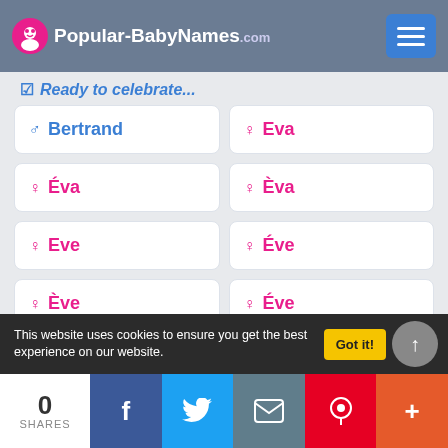Popular-BabyNames.com
Ready to celebrate...
♂ Bertrand
♀ Eva
♀ Éva
♀ Èva
♀ Eve
♀ Éve
♀ Ève
♀ Éve
♀ Evelyne
♀ Évelyne
This website uses cookies to ensure you get the best experience on our website.
Got it!
Réigne
0 SHARES | Facebook | Twitter | Email | Pinterest | +